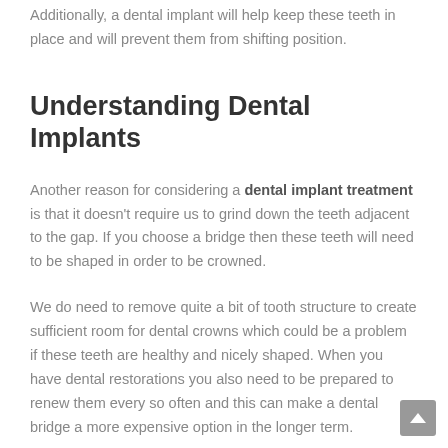Additionally, a dental implant will help keep these teeth in place and will prevent them from shifting position.
Understanding Dental Implants
Another reason for considering a dental implant treatment is that it doesn't require us to grind down the teeth adjacent to the gap. If you choose a bridge then these teeth will need to be shaped in order to be crowned.
We do need to remove quite a bit of tooth structure to create sufficient room for dental crowns which could be a problem if these teeth are healthy and nicely shaped. When you have dental restorations you also need to be prepared to renew them every so often and this can make a dental bridge a more expensive option in the longer term.
This is because every time this restoration needs replacing, you will be paying for three replacement bridge teeth rather